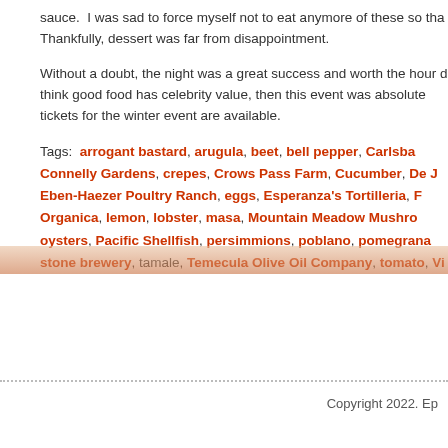sauce.  I was sad to force myself not to eat anymore of these so th... Thankfully, dessert was far from disappointment.
Without a doubt, the night was a great success and worth the hour d... think good food has celebrity value, then this event was absolut... tickets for the winter event are available.
Tags:  arrogant bastard, arugula, beet, bell pepper, Carlsba... Connelly Gardens, crepes, Crows Pass Farm, Cucumber, De J... Eben-Haezer Poultry Ranch, eggs, Esperanza's Tortilleria, F... Organica, lemon, lobster, masa, Mountain Meadow Mushro... oysters, Pacific Shellfish, persimmions, poblano, pomegrana... stone brewery, tamale, Temecula Olive Oil Company, tomato, Vi...
Copyright 2022. Ep